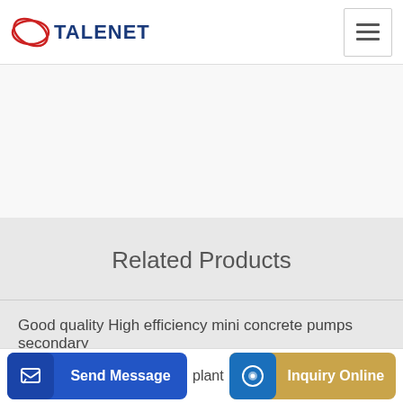TALENET
Related Products
Good quality High efficiency mini concrete pumps secondary
Smart Teka turbine pan mini dubai concrete mixer 0 25m3
plant
Send Message
Inquiry Online